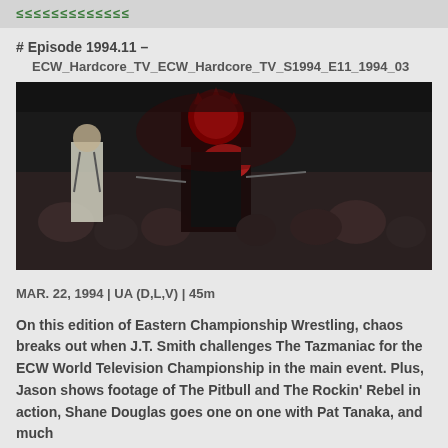≤≤≤≤≤≤≤≤≤≤≤≤≤
# Episode 1994.11 – ECW_Hardcore_TV_ECW_Hardcore_TV_S1994_E11_1994_03
[Figure (photo): Dark wrestling arena photo showing a masked wrestler in a red and black costume with spikes, with another person in white shirt visible]
MAR. 22, 1994 | UA (D,L,V) | 45m
On this edition of Eastern Championship Wrestling, chaos breaks out when J.T. Smith challenges The Tazmaniac for the ECW World Television Championship in the main event. Plus, Jason shows footage of The Pitbull and The Rockin' Rebel in action, Shane Douglas goes one on one with Pat Tanaka, and much